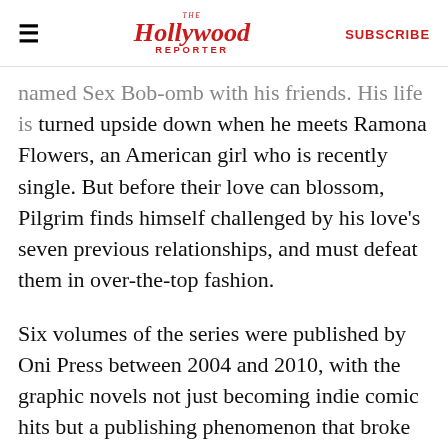The Hollywood Reporter | SUBSCRIBE
named Sex Bob-omb with his friends. His life is turned upside down when he meets Ramona Flowers, an American girl who is recently single. But before their love can blossom, Pilgrim finds himself challenged by his love's seven previous relationships, and must defeat them in over-the-top fashion.
Six volumes of the series were published by Oni Press between 2004 and 2010, with the graphic novels not just becoming indie comic hits but a publishing phenomenon that broke out into the mainstream, selling millions of copies.
Wright adapted the works — he wrote the script